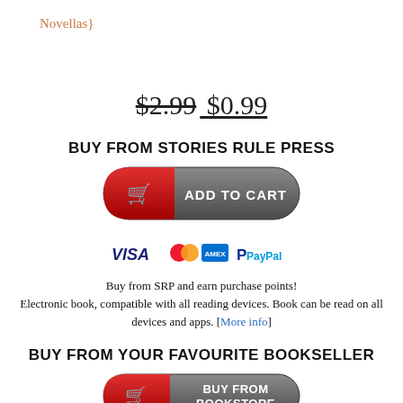Novellas}
$2.99 $0.99
BUY FROM STORIES RULE PRESS
[Figure (illustration): Red and grey pill-shaped 'Add to Cart' button with shopping cart icon]
[Figure (illustration): Payment icons: VISA, MasterCard, American Express, PayPal]
Buy from SRP and earn purchase points! Electronic book, compatible with all reading devices. Book can be read on all devices and apps. [More info]
BUY FROM YOUR FAVOURITE BOOKSELLER
[Figure (illustration): Red and grey pill-shaped 'Buy From Bookstore' button with shopping cart icon]